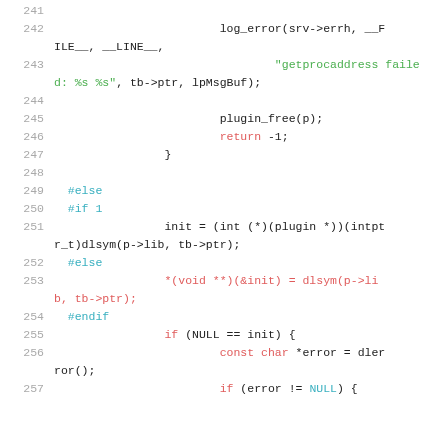[Figure (screenshot): Source code listing lines 241-257 in C, showing plugin initialization with log_error, plugin_free, return -1, preprocessor directives #else #if #endif, dlsym calls, and NULL checks.]